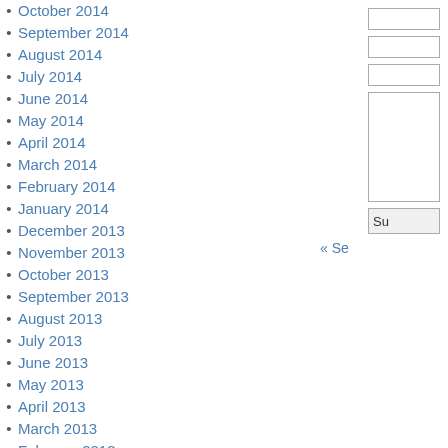October 2014
September 2014
August 2014
July 2014
June 2014
May 2014
April 2014
March 2014
February 2014
January 2014
December 2013
November 2013
October 2013
September 2013
August 2013
July 2013
June 2013
May 2013
April 2013
March 2013
February 2013
January 2013
December 2012
November 2012